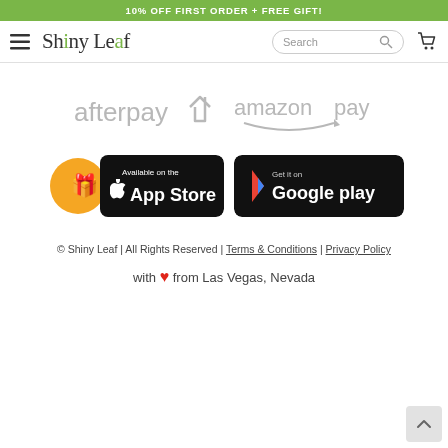10% OFF FIRST ORDER + FREE GIFT!
[Figure (logo): Shiny Leaf logo with hamburger menu, search bar, and cart icon navigation bar]
[Figure (logo): Afterpay logo and Amazon Pay logo side by side as accepted payment methods]
[Figure (logo): App Store and Google Play download buttons]
© Shiny Leaf | All Rights Reserved | Terms & Conditions | Privacy Policy
with ❤ from Las Vegas, Nevada